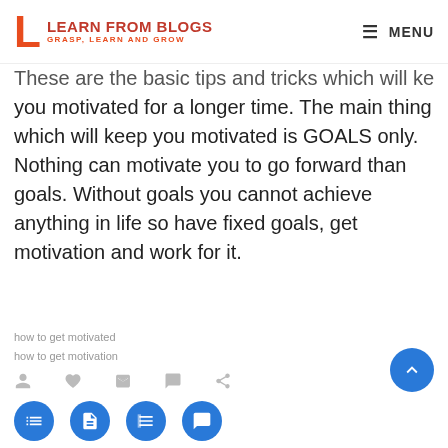LEARN FROM BLOGS — GRASP, LEARN AND GROW | MENU
These are the basic tips and tricks which will keep you motivated for a longer time. The main thing which will keep you motivated is GOALS only. Nothing can motivate you to go forward than goals. Without goals you cannot achieve anything in life so have fixed goals, get motivation and work for it.
how to get motivated
how to get motivation
Shweta